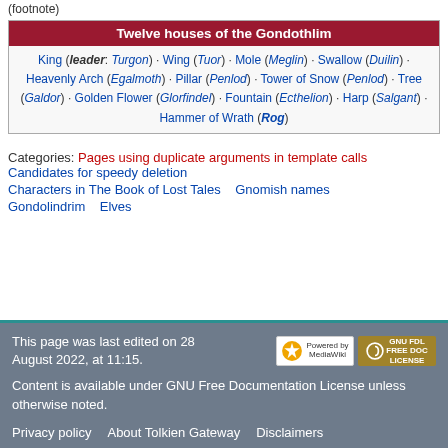(footnote)
| Twelve houses of the Gondothlim |
| --- |
| King (leader: Turgon) · Wing (Tuor) · Mole (Meglin) · Swallow (Duilin) · Heavenly Arch (Egalmoth) · Pillar (Penlod) · Tower of Snow (Penlod) · Tree (Galdor) · Golden Flower (Glorfindel) · Fountain (Ecthelion) · Harp (Salgant) · Hammer of Wrath (Rog) |
Categories: Pages using duplicate arguments in template calls   Candidates for speedy deletion   Characters in The Book of Lost Tales   Gnomish names   Gondolindrim   Elves
This page was last edited on 28 August 2022, at 11:15.

Content is available under GNU Free Documentation License unless otherwise noted.

Privacy policy   About Tolkien Gateway   Disclaimers